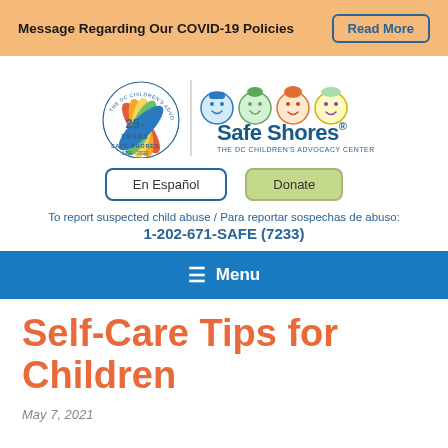Message Regarding Our COVID-19 Policies  |  Read More
[Figure (logo): Safe Shores 25 Years DC Children's Advocacy Center logo with colorful child faces]
En Español  |  Donate
To report suspected child abuse / Para reportar sospechas de abuso: 1-202-671-SAFE (7233)
Menu
Self-Care Tips for Children
May 7, 2021